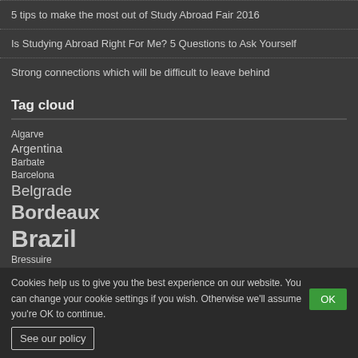5 tips to make the most out of Study Abroad Fair 2016
Is Studying Abroad Right For Me? 5 Questions to Ask Yourself
Strong connections which will be difficult to leave behind
Tag cloud
Algarve
Argentina
Barbate
Barcelona
Belgrade
Bordeaux
Brazil
Bressuire
Brittany
Cadiz
Catalan
Chambéry
China
Cookies help us to give you the best experience on our website. You can change your cookie settings if you wish. Otherwise we'll assume you're OK to continue.